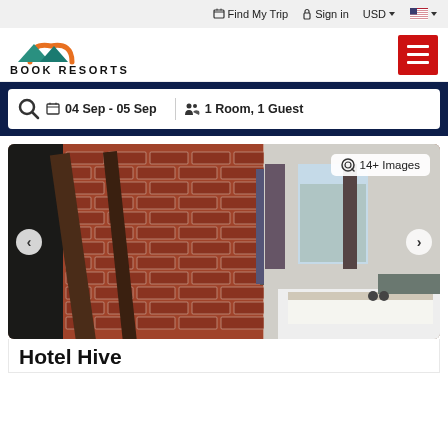Find My Trip  Sign in  USD  [US Flag]
[Figure (logo): Book Resorts logo with mountain and sun icon, orange arc sun over teal mountain peaks]
[Figure (other): Red hamburger menu button with three white horizontal lines]
04 Sep - 05 Sep   1 Room, 1 Guest
[Figure (photo): Hotel room interior photo showing exposed brick wall with arched ceiling, wooden beams, large window with curtains, white bed with headboard. Navigation arrows on sides. Badge showing '14+ Images' in top right.]
Hotel Hive